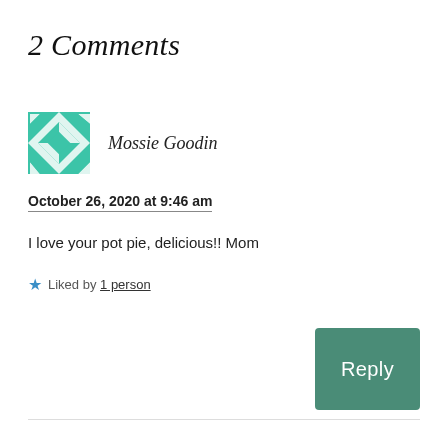2 Comments
[Figure (illustration): Teal and white geometric quilt-pattern avatar icon for user Mossie Goodin]
Mossie Goodin
October 26, 2020 at 9:46 am
I love your pot pie, delicious!! Mom
★ Liked by 1 person
Reply